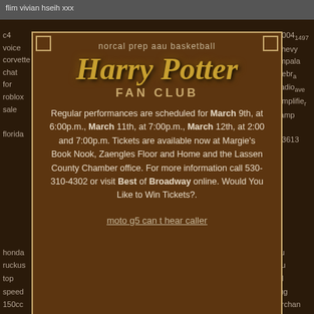flim vivian hseih xxx
c4 voice corvette chat for roblox sale florida
2004 1497 chevy impala nebra radio ave amplifier tamp fl 33613
norcal prep aau basketball
Harry Potter FAN CLUB
Regular performances are scheduled for March 9th, at 6:00p.m., March 11th, at 7:00p.m., March 12th, at 2:00 and 7:00p.m. Tickets are available now at Margie's Book Nook, Zaengles Floor and Home and the Lassen County Chamber office. For more information call 530-310-4302 or visit Best of Broadway online. Would You Like to Win Tickets?.
moto g5 can t hear caller
honda ruckus top speed 150cc
best cities to live in the world 2021
limu emu and doug merchan